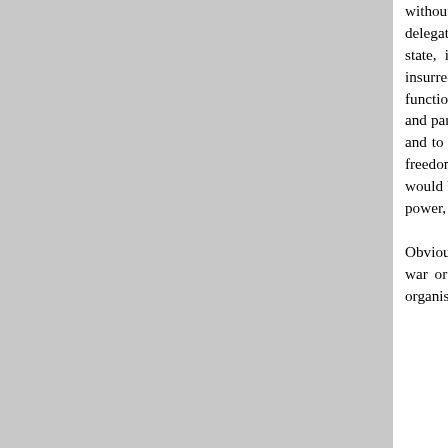without restrictive preconditions as to the ideological or political convictions of the elected delegates. (This does not apply, of course, to parties engaged in armed struggle against the workers state, i.e., to conditions of civil war, or to conditions of the revolutionary crisis and armed insurrection itself, to which this resolution refers in a later point). Likewise, workers' councils can function democratically only if all the elected delegates enjoy the right to form groups, tendencies, and parties, to have access to the mass media, to present their different platforms before the masses, and to have them debated and tested by experience. Any restriction of party affiliation restricts the freedom of the proletariat to exercise political power, i.e., restricts workers' democracy, which would be contrary to the historical interests of the working class, to the need to consolidate workers' power, to the interests of world revolution and of building socialism.

Obviously such rights will not be recognised for parties, groups or individuals involved in a civil war or armed actions against the workers state. Neither do such freedoms include the right to organise actions or demonstrations of a racist character or in favour of national or ethnic oppression.